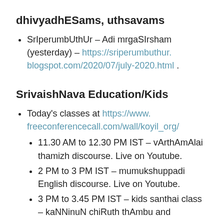dhivyadhESams, uthsavams
SrIperumbUthUr – Adi mrgaSIrsham (yesterday) – https://sriperumbuthur.blogspot.com/2020/07/july-2020.html .
SrivaishNava Education/Kids
Today's classes at https://www.freeconferencecall.com/wall/koyil_org/
11.30 AM to 12.30 PM IST – vArthAmAlai thamizh discourse. Live on Youtube.
2 PM to 3 PM IST – mumukshuppadi English discourse. Live on Youtube.
3 PM to 3.45 PM IST – kids santhai class – kaNNinuN chiRuth thAmbu and